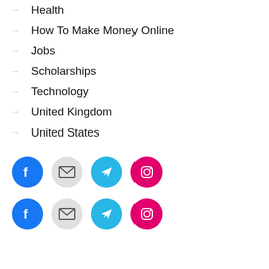Health
How To Make Money Online
Jobs
Scholarships
Technology
United Kingdom
United States
[Figure (infographic): Row of four social media icon circles: Facebook (blue), Mail (gray), Telegram (cyan), Instagram (pink/magenta)]
[Figure (infographic): Second row of four social media icon circles: Facebook (blue), Mail (gray), Telegram (cyan), Instagram (pink/magenta)]